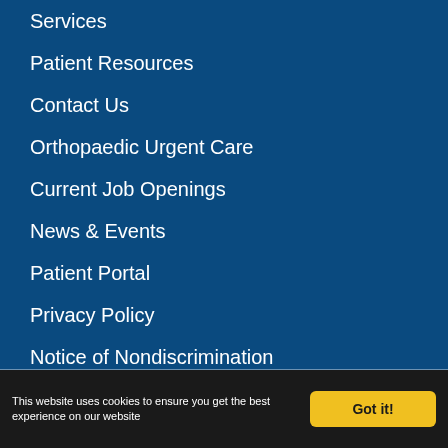Services
Patient Resources
Contact Us
Orthopaedic Urgent Care
Current Job Openings
News & Events
Patient Portal
Privacy Policy
Notice of Nondiscrimination
No Surprises Act Disclosure Notice
No Surprises Act Good Faith Estimate
Share Your Patient Story
This website uses cookies to ensure you get the best experience on our website
Got it!